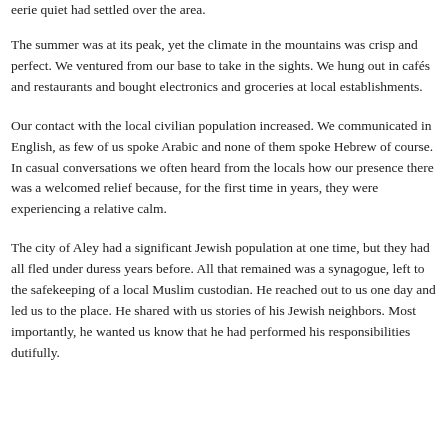eerie quiet had settled over the area.
The summer was at its peak, yet the climate in the mountains was crisp and perfect. We ventured from our base to take in the sights. We hung out in cafés and restaurants and bought electronics and groceries at local establishments.
Our contact with the local civilian population increased. We communicated in English, as few of us spoke Arabic and none of them spoke Hebrew of course. In casual conversations we often heard from the locals how our presence there was a welcomed relief because, for the first time in years, they were experiencing a relative calm.
The city of Aley had a significant Jewish population at one time, but they had all fled under duress years before. All that remained was a synagogue, left to the safekeeping of a local Muslim custodian. He reached out to us one day and led us to the place. He shared with us stories of his Jewish neighbors. Most importantly, he wanted us know that he had performed his responsibilities dutifully.